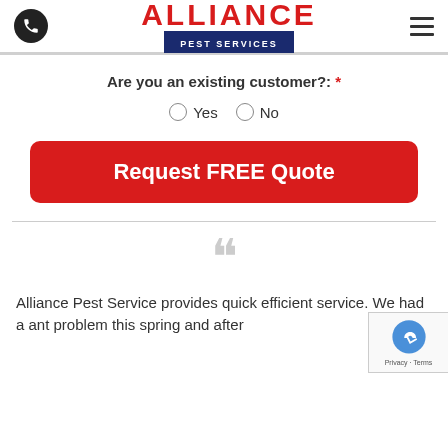Alliance Pest Services
Are you an existing customer?: *
Yes  No
Request FREE Quote
““
Alliance Pest Service provides quick efficient service. We had a ant problem this spring and after